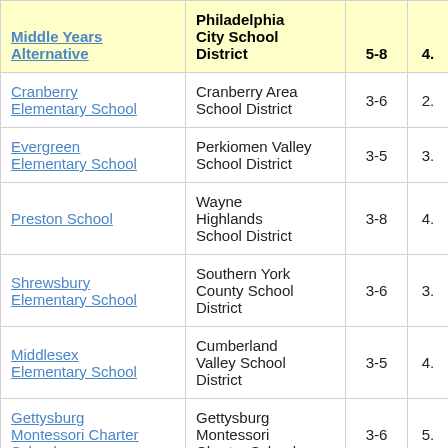| Middle Years Alternative | Philadelphia City School District | 5-8 | 4. |
| --- | --- | --- | --- |
| Cranberry Elementary School | Cranberry Area School District | 3-6 | 2. |
| Evergreen Elementary School | Perkiomen Valley School District | 3-5 | 3. |
| Preston School | Wayne Highlands School District | 3-8 | 4. |
| Shrewsbury Elementary School | Southern York County School District | 3-6 | 3. |
| Middlesex Elementary School | Cumberland Valley School District | 3-5 | 4. |
| Gettysburg Montessori Charter School | Gettysburg Montessori Charter School | 3-6 | 5. |